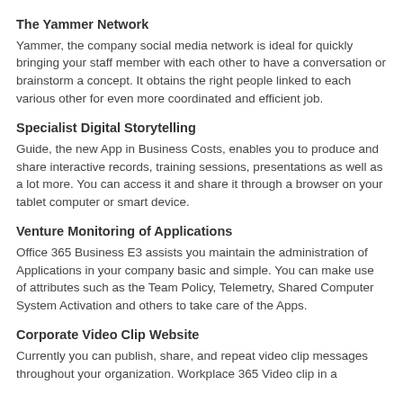The Yammer Network
Yammer, the company social media network is ideal for quickly bringing your staff member with each other to have a conversation or brainstorm a concept. It obtains the right people linked to each various other for even more coordinated and efficient job.
Specialist Digital Storytelling
Guide, the new App in Business Costs, enables you to produce and share interactive records, training sessions, presentations as well as a lot more. You can access it and share it through a browser on your tablet computer or smart device.
Venture Monitoring of Applications
Office 365 Business E3 assists you maintain the administration of Applications in your company basic and simple. You can make use of attributes such as the Team Policy, Telemetry, Shared Computer System Activation and others to take care of the Apps.
Corporate Video Clip Website
Currently you can publish, share, and repeat video clip messages throughout your organization. Workplace 365 Video clip in a